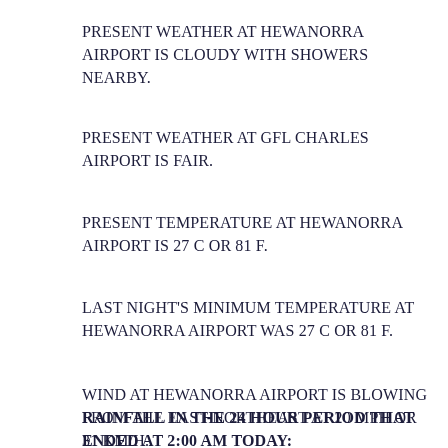PRESENT WEATHER AT HEWANORRA AIRPORT IS CLOUDY WITH SHOWERS NEARBY.
PRESENT WEATHER AT GFL CHARLES AIRPORT IS FAIR.
PRESENT TEMPERATURE AT HEWANORRA AIRPORT IS 27 C OR 81 F.
LAST NIGHT'S MINIMUM TEMPERATURE AT HEWANORRA AIRPORT WAS 27 C OR 81 F.
WIND AT HEWANORRA AIRPORT IS BLOWING FROM THE EAST-NORTHEAST AT 20 MPH OR 31 KM/H.
RAINFALL IN THE 24 HOUR PERIOD THAT ENDED AT 2:00 AM TODAY: